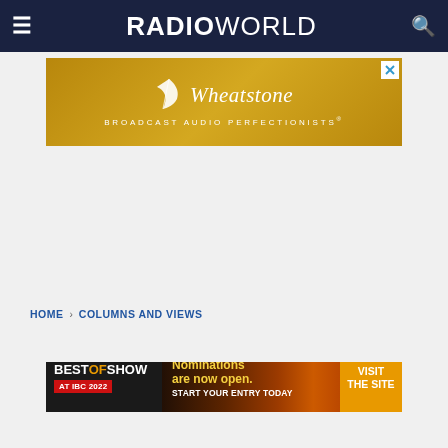RADIOWORLD
[Figure (other): Wheatstone advertisement banner — gold background with feather leaf logo, italic 'Wheatstone' wordmark, tagline 'BROADCAST AUDIO PERFECTIONISTS®']
HOME › COLUMNS AND VIEWS
[Figure (other): Best of Show at IBC 2022 advertisement — dark/amber gradient background, 'Nominations are now open. START YOUR ENTRY TODAY', yellow 'VISIT THE SITE' button]